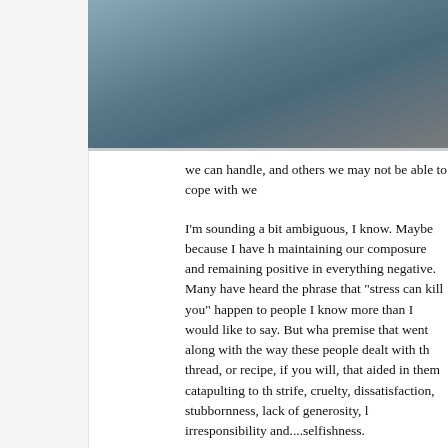[Figure (photo): Partial photo visible at top of page, appears to show feet/shoes on a dark gravel or asphalt surface with bluish-gray tones.]
we can handle, and others we may not be able to cope with we...
I'm sounding a bit ambiguous, I know. Maybe because I have h... maintaining our composure and remaining positive in everything... negative. Many have heard the phrase that "stress can kill you"... happen to people I know more than I would like to say. But wha... premise that went along with the way these people dealt with th... thread, or recipe, if you will, that aided in them catapulting to th... strife, cruelty, dissatisfaction, stubbornness, lack of generosity, l... irresponsibility and....selfishness.
I think I can say in confidence as one who diligently works towa... examined, I am also able to determine when one demonstrates... destruction. Moreover, if you are reading this and you can relate... and run quickly from them. So sorry, but they are toxic. You dor... be their savior. At the point in which they have stirred in all of th... seasonings.
Okay, so what's my point? Honestly, I'm only going to reiterate s...